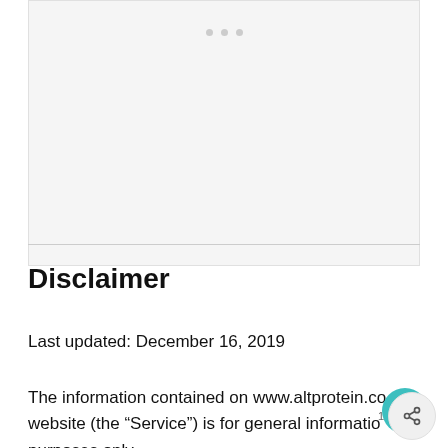[Figure (other): Gray placeholder image area with three small dots at the top center]
Disclaimer
Last updated: December 16, 2019
The information contained on www.altprotein.co website (the “Service”) is for general informatio purposes only.